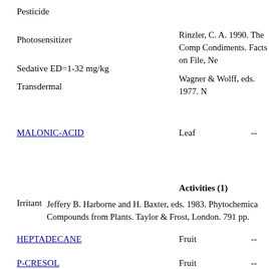Pesticide
Photosensitizer
Rinzler, C. A. 1990. The Comp Condiments. Facts on File, Ne
Sedative ED=1-32 mg/kg
Wagner & Wolff, eds. 1977. N
Transdermal
MALONIC-ACID
Leaf
--
Activities (1)
Irritant
Jeffery B. Harborne and H. Baxter, eds. 1983. Phytochemica Compounds from Plants. Taylor & Frost, London. 791 pp.
HEPTADECANE
Fruit
--
P-CRESOL
Fruit
--